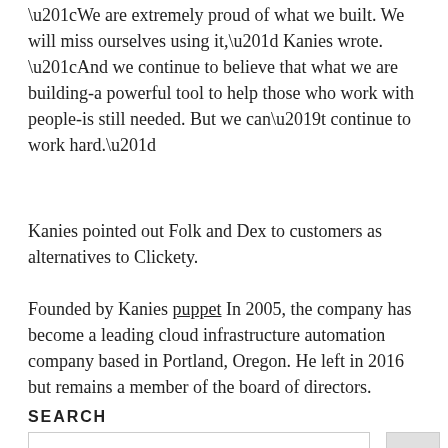“We are extremely proud of what we built. We will miss ourselves using it,” Kanies wrote. “And we continue to believe that what we are building-a powerful tool to help those who work with people-is still needed. But we can’t continue to work hard.”
Kanies pointed out Folk and Dex to customers as alternatives to Clickety.
Founded by Kanies puppet In 2005, the company has become a leading cloud infrastructure automation company based in Portland, Oregon. He left in 2016 but remains a member of the board of directors.
SEARCH